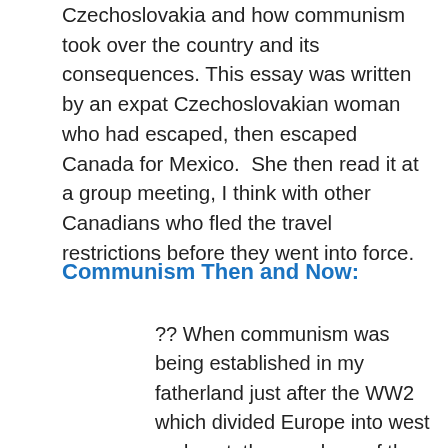Czechoslovakia and how communism took over the country and its consequences. This essay was written by an expat Czechoslovakian woman who had escaped, then escaped Canada for Mexico.  She then read it at a group meeting, I think with other Canadians who fled the travel restrictions before they went into force.
Communism Then and Now:
?? When communism was being established in my fatherland just after the WW2 which divided Europe into west and east, the members of the communist party, the ass kissers, the corrupted greedy, power horny